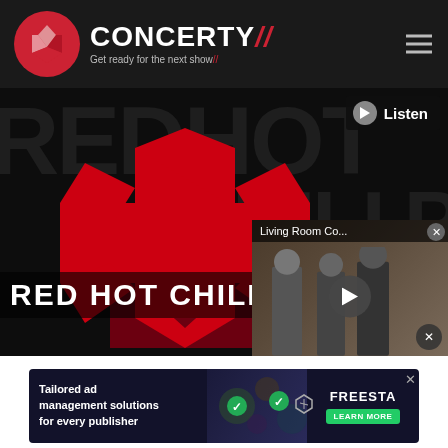[Figure (screenshot): Concerty website header with logo (Y-shaped icon in red circle), brand name CONCERTY with red slash, tagline 'Get ready for the next show' and hamburger menu icon on dark background]
[Figure (screenshot): Red Hot Chili Peppers band page banner showing RHCP asterisk logo in red on black background with band name text 'RED HOT CHILI PE...' at bottom, Listen button top right, and a video overlay showing 'Living Room Co...' with play button]
[Figure (screenshot): Advertisement banner: 'Tailored ad management solutions for every publisher' with Freesta branding and Learn More button]